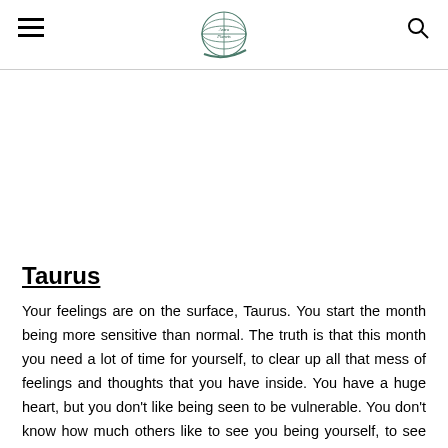[Navigation header with hamburger menu, globe logo, and search icon]
Taurus
Your feelings are on the surface, Taurus. You start the month being more sensitive than normal. The truth is that this month you need a lot of time for yourself, to clear up all that mess of feelings and thoughts that you have inside. You have a huge heart, but you don't like being seen to be vulnerable. You don't know how much others like to see you being yourself, to see you enjoy your feelings outside of the shell.